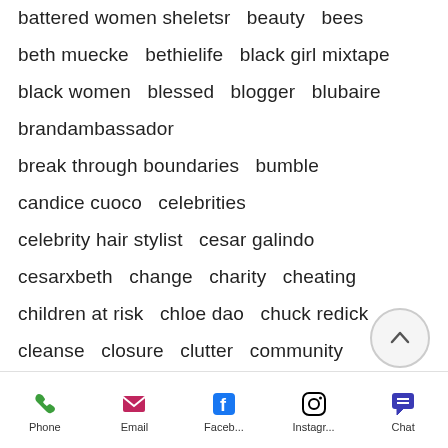battered women sheletsr  beauty  bees
beth muecke  bethielife  black girl mixtape
black women  blessed  blogger  blubaire
brandambassador
break through boundaries  bumble
candice cuoco  celebrities
celebrity hair stylist  cesar galindo
cesarxbeth  change  charity  cheating
children at risk  chloe dao  chuck redick
cleanse  closure  clutter  community
complacement moms  confidence
conscious culture  consciouscouture
consciously secure life  consciousness
Phone  Email  Faceb...  Instagr...  Chat